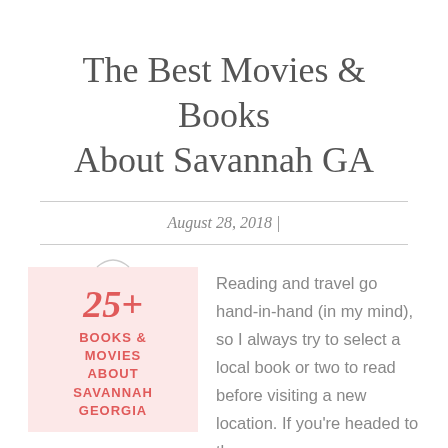The Best Movies & Books About Savannah GA
August 28, 2018 |
[Figure (illustration): Pink background box with '25+' in italic red and text 'BOOKS & MOVIES ABOUT SAVANNAH GEORGIA' in bold red uppercase]
Reading and travel go hand-in-hand (in my mind), so I always try to select a local book or two to read before visiting a new location. If you're headed to the